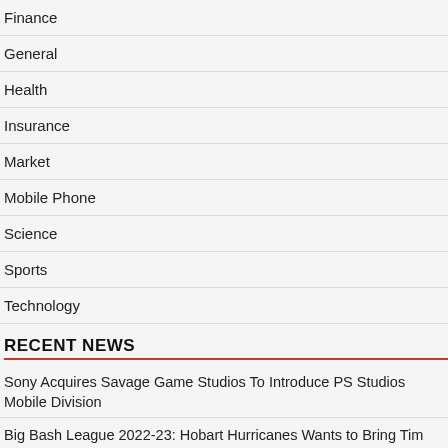Finance
General
Health
Insurance
Market
Mobile Phone
Science
Sports
Technology
RECENT NEWS
Sony Acquires Savage Game Studios To Introduce PS Studios Mobile Division
Big Bash League 2022-23: Hobart Hurricanes Wants to Bring Tim